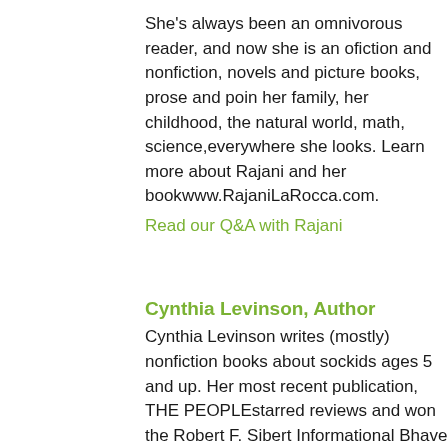She's always been an omnivorous reader, and now she is an author of fiction and nonfiction, novels and picture books, prose and po... in her family, her childhood, the natural world, math, science, everywhere she looks. Learn more about Rajani and her book www.RajaniLaRocca.com.
Read our Q&A with Rajani
Cynthia Levinson, Author
Cynthia Levinson writes (mostly) nonfiction books about soc... kids ages 5 and up. Her most recent publication, THE PEOPLE starred reviews and won the Robert F. Sibert Informational B have earned recognition from NCTE, YALSA, the Jane Addam Council, the NAACP, and others.
Read our Q&A with Cynthia